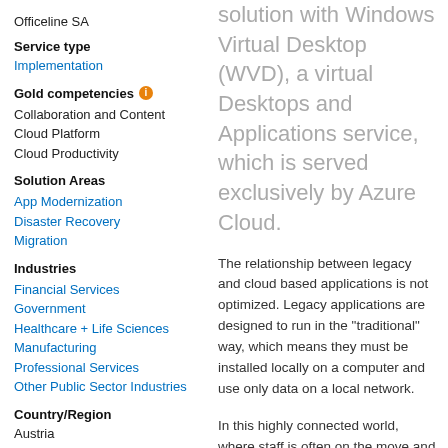Officeline SA
Service type
Implementation
Gold competencies
Collaboration and Content
Cloud Platform
Cloud Productivity
Solution Areas
App Modernization
Disaster Recovery
Migration
Industries
Financial Services
Government
Healthcare + Life Sciences
Manufacturing
Professional Services
Other Public Sector Industries
Country/Region
Austria
Also available in
Belgium
Bulgaria
solution with Windows Virtual Desktop (WVD), a virtual Desktops and Applications service, which is served exclusively by Azure Cloud.
The relationship between legacy and cloud based applications is not optimized. Legacy applications are designed to run in the "traditional" way, which means they must be installed locally on a computer and use only data on a local network.
In this highly connected world, where staff is often on the move and need